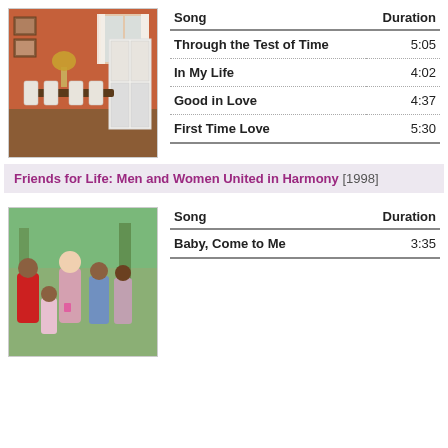[Figure (photo): Interior photo of a dining room with white furniture, chairs, and warm orange walls]
| Song | Duration |
| --- | --- |
| Through the Test of Time | 5:05 |
| In My Life | 4:02 |
| Good in Love | 4:37 |
| First Time Love | 5:30 |
Friends for Life: Men and Women United in Harmony [1998]
[Figure (photo): Outdoor group photo of people gathered together]
| Song | Duration |
| --- | --- |
| Baby, Come to Me | 3:35 |